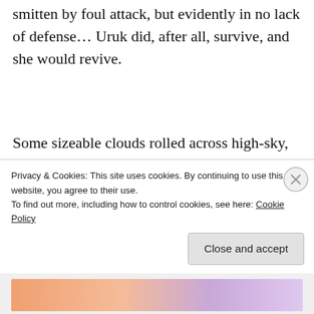smitten by foul attack, but evidently in no lack of defense… Uruk did, after all, survive, and she would revive.
Some sizeable clouds rolled across high-sky, teasing of rain without appeasing, proud they could partly shroud war-torn land without answering demand for much-needed water. As I drew nearer, the slaughter was unimaginable;
Privacy & Cookies: This site uses cookies. By continuing to use this website, you agree to their use.
To find out more, including how to control cookies, see here: Cookie Policy
Close and accept